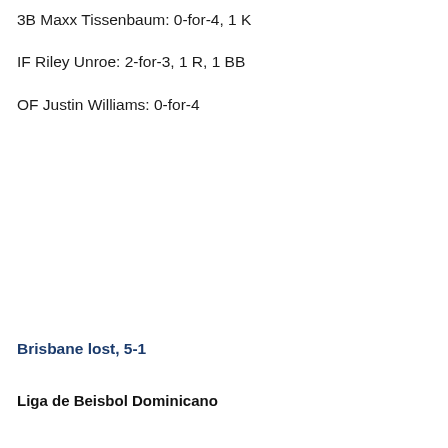3B Maxx Tissenbaum: 0-for-4, 1 K
IF Riley Unroe: 2-for-3, 1 R, 1 BB
OF Justin Williams: 0-for-4
Brisbane lost, 5-1
Liga de Beisbol Dominicano